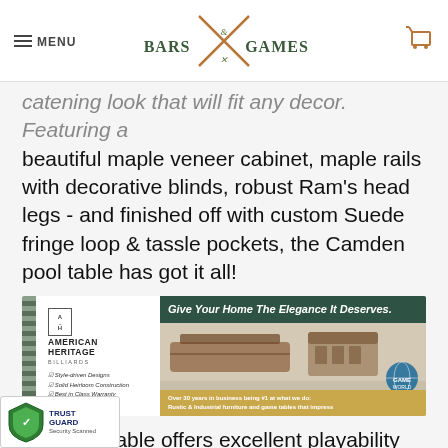MENU | Bars & Games | [cart icon]
catening look that will fit any decor. Featuring a beautiful maple veneer cabinet, maple rails with decorative blinds, robust Ram's head legs - and finished off with custom Suede fringe loop & tassle pockets, the Camden pool table has got it all!
[Figure (infographic): American Heritage Billiards advertisement banner: 'Give Your Home The Elegance It Deserves.' featuring pool table and bar furniture, with checklist items: Style-driven Designs, Solid Heirloom Construction, Best in Class Warranty. Bottom bar: Over 30 years in business being #1 at what we do: Rustic & Industrial furniture and game tables that impress.]
The pool table offers excellent playability while it's extraordinary design, exceptional couture and finish exudes refinement. The Camden
ll certified slate and teflon coated felt